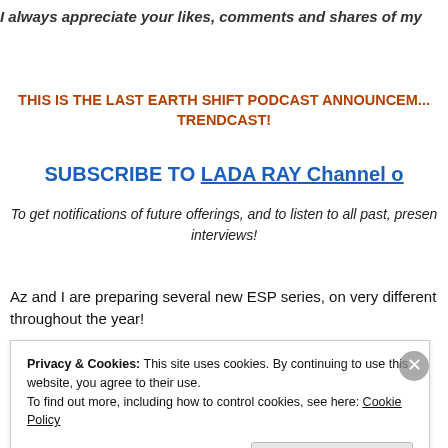I always appreciate your likes, comments and shares of my
THIS IS THE LAST EARTH SHIFT PODCAST ANNOUNCEMENT TRENDCAST!
SUBSCRIBE TO LADA RAY Channel on
To get notifications of future offerings, and to listen to all past, present interviews!
Az and I are preparing several new ESP series, on very different topics throughout the year!
Privacy & Cookies: This site uses cookies. By continuing to use this website, you agree to their use. To find out more, including how to control cookies, see here: Cookie Policy
Close and accept